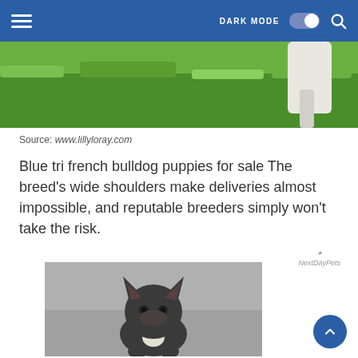DARK MODE [toggle] [search]
[Figure (photo): Partial photo showing green grass with a white dog leg/paw visible at top right]
Source: www.lillyloray.com
Blue tri french bulldog puppies for sale The breed’s wide shoulders make deliveries almost impossible, and reputable breeders simply won’t take the risk.
[Figure (photo): A dark gray/blue French Bulldog puppy sitting on a gray surface, looking at camera, with NextDayPets logo watermark in upper right of image]